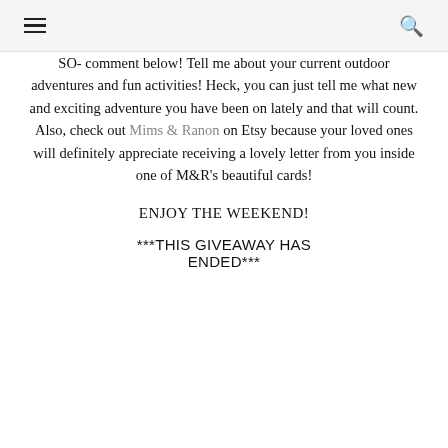[hamburger menu] [search icon]
SO- comment below! Tell me about your current outdoor adventures and fun activities! Heck, you can just tell me what new and exciting adventure you have been on lately and that will count. Also, check out Mims & Ranon on Etsy because your loved ones will definitely appreciate receiving a lovely letter from you inside one of M&R's beautiful cards!
ENJOY THE WEEKEND!
***THIS GIVEAWAY HAS ENDED***